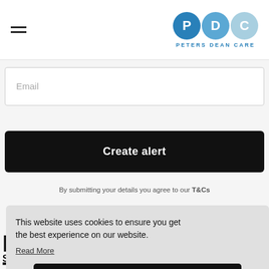PDC - Peters Dean Care
Email
Create alert
By submitting your details you agree to our T&Cs
This website uses cookies to ensure you get the best experience on our website. Read More
Got it!